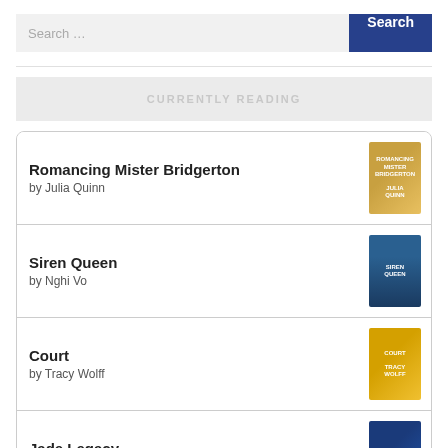Search ...
CURRENTLY READING
Romancing Mister Bridgerton by Julia Quinn
Siren Queen by Nghi Vo
Court by Tracy Wolff
Jade Legacy by Fonda Lee